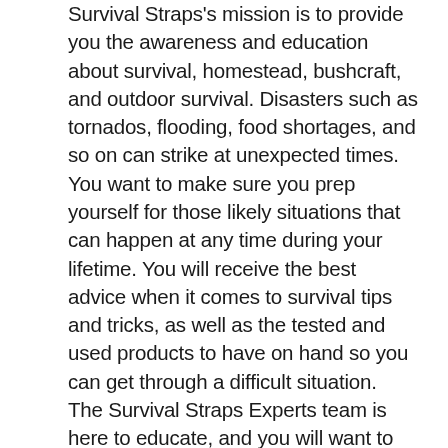Survival Straps's mission is to provide you the awareness and education about survival, homestead, bushcraft, and outdoor survival. Disasters such as tornados, flooding, food shortages, and so on can strike at unexpected times. You want to make sure you prep yourself for those likely situations that can happen at any time during your lifetime. You will receive the best advice when it comes to survival tips and tricks, as well as the tested and used products to have on hand so you can get through a difficult situation.  The Survival Straps Experts team is here to educate, and you will want to check the section below and read more about us here.